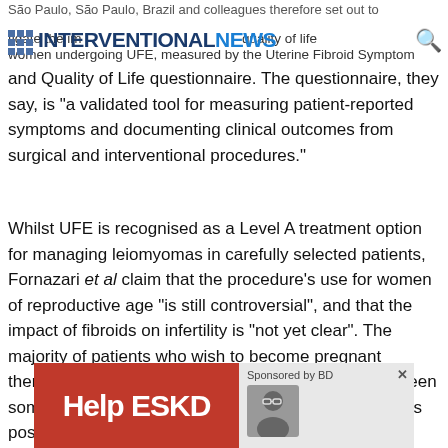INTERVENTIONAL NEWS
São Paulo, São Paulo, Brazil and colleagues therefore set out to investigate the impact of UFE on quality of life of women undergoing UFE, measured by the Uterine Fibroid Symptom and Quality of Life questionnaire. The questionnaire, they say, is "a validated tool for measuring patient-reported symptoms and documenting clinical outcomes from surgical and interventional procedures."
Whilst UFE is recognised as a Level A treatment option for managing leiomyomas in carefully selected patients, Fornazari et al claim that the procedure's use for women of reproductive age "is still controversial", and that the impact of fibroids on infertility is "not yet clear". The majority of patients who wish to become pregnant therefore opt for a myomectomy, though there have been some studies that demonstrate successful pregnancies post-UFE. "One of the hypotheses for the association between fibroids and infertility," the study authors write, "is alteration of uterine contractility."
[Figure (other): Advertisement banner: Help ESKD (red background, white bold text) with Sponsored by BD label and person with glasses image, with X close button]